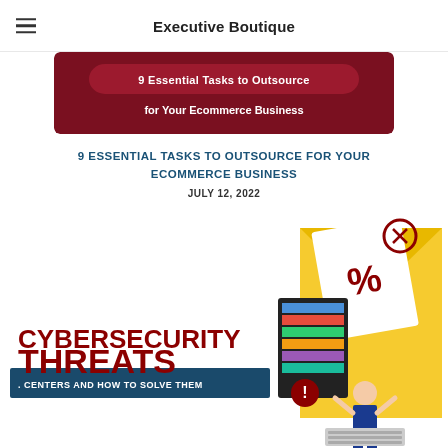Executive Boutique
[Figure (illustration): Banner image with dark red background showing '9 Essential Tasks to Outsource for Your Ecommerce Business' text]
9 ESSENTIAL TASKS TO OUTSOURCE FOR YOUR ECOMMERCE BUSINESS
JULY 12, 2022
[Figure (illustration): Cybersecurity Threats in Call Centers and How to Solve Them - promotional image with dark red text on left and isometric illustration of hacker/computer on right with yellow envelope]